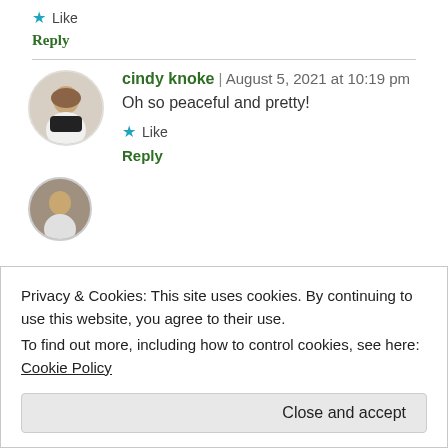★ Like
Reply
cindy knoke | August 5, 2021 at 10:19 pm
Oh so peaceful and pretty!
★ Like
Reply
Privacy & Cookies: This site uses cookies. By continuing to use this website, you agree to their use.
To find out more, including how to control cookies, see here: Cookie Policy
Close and accept